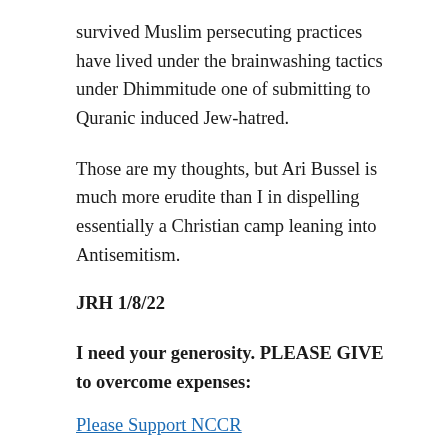survived Muslim persecuting practices have lived under the brainwashing tactics under Dhimmitude one of submitting to Quranic induced Jew-hatred.
Those are my thoughts, but Ari Bussel is much more erudite than I in dispelling essentially a Christian camp leaning into Antisemitism.
JRH 1/8/22
I need your generosity. PLEASE GIVE to overcome expenses:
Please Support NCCR
Big Tech Censorship is pervasive – Share